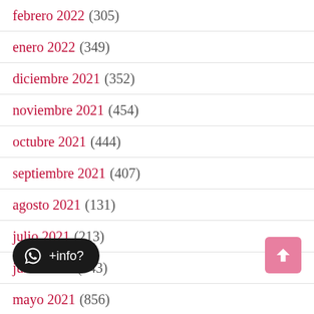febrero 2022 (305)
enero 2022 (349)
diciembre 2021 (352)
noviembre 2021 (454)
octubre 2021 (444)
septiembre 2021 (407)
agosto 2021 (131)
julio 2021 (213)
junio 2021 (743)
mayo 2021 (856)
abril 2021 (741)
marzo 2021 (…)
febrero 2021 (44)